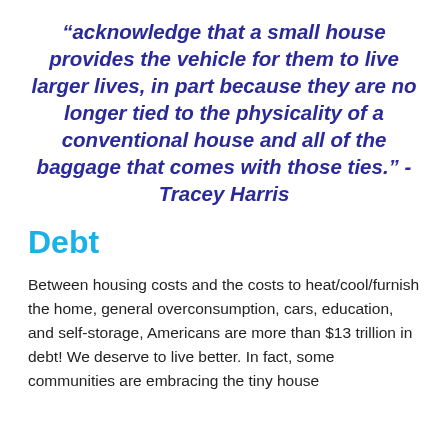“acknowledge that a small house provides the vehicle for them to live larger lives, in part because they are no longer tied to the physicality of a conventional house and all of the baggage that comes with those ties.” - Tracey Harris
Debt
Between housing costs and the costs to heat/cool/furnish the home, general overconsumption, cars, education, and self-storage, Americans are more than $13 trillion in debt! We deserve to live better. In fact, some communities are embracing the tiny house